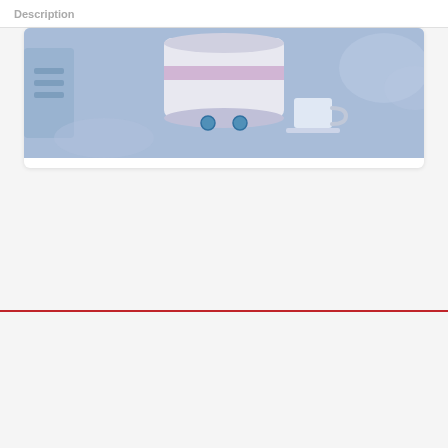Description
[Figure (illustration): Blue-toned illustration showing a database server/cylinder with circular connectors, a coffee cup, and abstract background elements in light blue tones]
DATABASE DESIGN & DEVELOPMENT
[100%OFF]Consultas en SQL para principiantes
$44.99